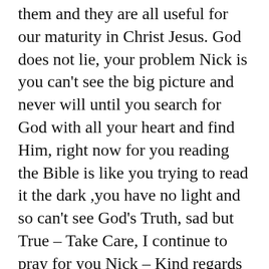them and they are all useful for our maturity in Christ Jesus. God does not lie, your problem Nick is you can't see the big picture and never will until you search for God with all your heart and find Him, right now for you reading the Bible is like you trying to read it the dark ,you have no light and so can't see God's Truth, sad but True – Take Care, I continue to pray for you Nick – Kind regards Anne
Privacy & Cookies: This site uses cookies. By continuing to use this website, you agree to their use.
To find out more, including how to control cookies, see here:
Cookie Policy
Close and accept
Which things also we speak, not in the words